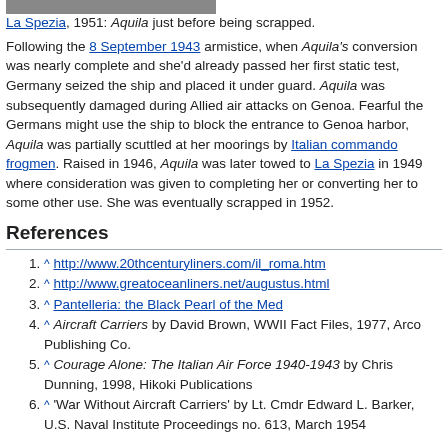[Figure (photo): Partial view of a black and white photograph of the ship Aquila at La Spezia.]
La Spezia, 1951: Aquila just before being scrapped.
Following the 8 September 1943 armistice, when Aquila's conversion was nearly complete and she'd already passed her first static test, Germany seized the ship and placed it under guard. Aquila was subsequently damaged during Allied air attacks on Genoa. Fearful the Germans might use the ship to block the entrance to Genoa harbor, Aquila was partially scuttled at her moorings by Italian commando frogmen. Raised in 1946, Aquila was later towed to La Spezia in 1949 where consideration was given to completing her or converting her to some other use. She was eventually scrapped in 1952.
References
^ http://www.20thcenturyliners.com/il_roma.htm
^ http://www.greatoceanliners.net/augustus.html
^ Pantelleria: the Black Pearl of the Med
^ Aircraft Carriers by David Brown, WWII Fact Files, 1977, Arco Publishing Co.
^ Courage Alone: The Italian Air Force 1940-1943 by Chris Dunning, 1998, Hikoki Publications
^ 'War Without Aircraft Carriers' by Lt. Cmdr Edward L. Barker, U.S. Naval Institute Proceedings no. 613, March 1954